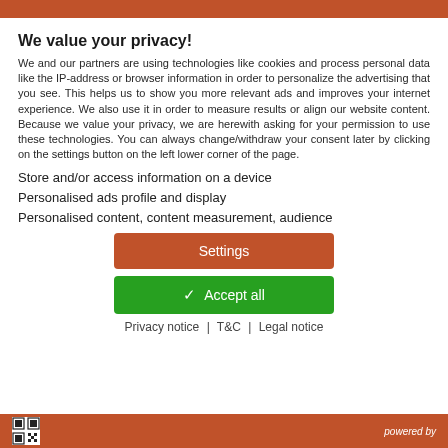We value your privacy!
We and our partners are using technologies like cookies and process personal data like the IP-address or browser information in order to personalize the advertising that you see. This helps us to show you more relevant ads and improves your internet experience. We also use it in order to measure results or align our website content. Because we value your privacy, we are herewith asking for your permission to use these technologies. You can always change/withdraw your consent later by clicking on the settings button on the left lower corner of the page.
Store and/or access information on a device
Personalised ads profile and display
Personalised content, content measurement, audience
Settings
✓ Accept all
Privacy notice | T&C | Legal notice
powered by